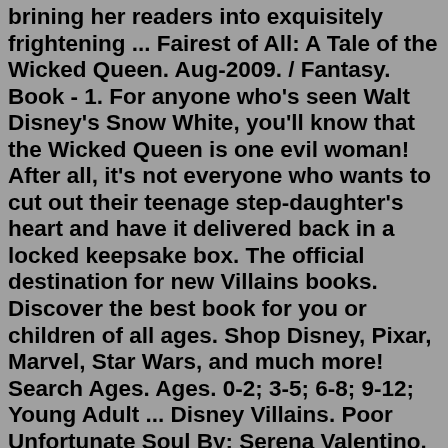brining her readers into exquisitely frightening ... Fairest of All: A Tale of the Wicked Queen. Aug-2009. / Fantasy. Book - 1. For anyone who's seen Walt Disney's Snow White, you'll know that the Wicked Queen is one evil woman! After all, it's not everyone who wants to cut out their teenage step-daughter's heart and have it delivered back in a locked keepsake box. The official destination for new Villains books. Discover the best book for you or children of all ages. Shop Disney, Pixar, Marvel, Star Wars, and much more! Search Ages. Ages. 0-2; 3-5; 6-8; 9-12; Young Adult ... Disney Villains. Poor Unfortunate Soul By: Serena Valentino. The Beast Within By: Serena Valentino. Fairest of All By: Serena ...Aug 08, 2022 · Disney Villains Book. Let our friends at Destinations to Travel help you plan your next Disney Vacation! Just fill out the form below and someone will be in touch! Remember their services are 100% ... The Villains of Disney. Disney Villains: Delightfully Evil: The Creation • The Inspiration • The Fascination. Jen Darcy. from $19.59. City of Villains Book 1. Estelle